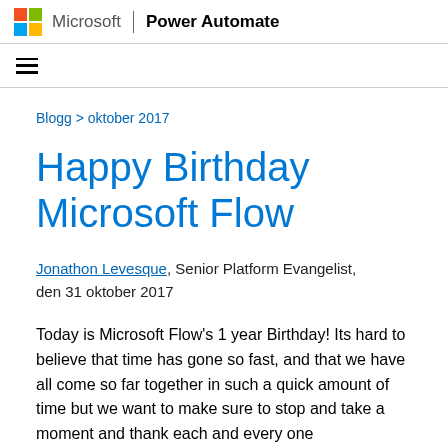Microsoft | Power Automate
Blogg > oktober 2017
Happy Birthday Microsoft Flow
Jonathon Levesque, Senior Platform Evangelist, den 31 oktober 2017
Today is Microsoft Flow's 1 year Birthday! Its hard to believe that time has gone so fast, and that we have all come so far together in such a quick amount of time but we want to make sure to stop and take a moment and thank each and every one